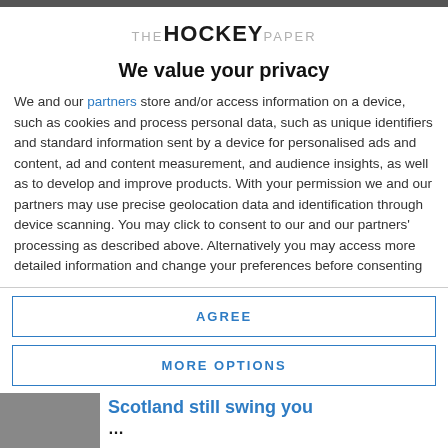[Figure (logo): The Hockey Paper logo — THE in grey small caps, HOCKEY in bold black large, PAPER in grey small caps]
We value your privacy
We and our partners store and/or access information on a device, such as cookies and process personal data, such as unique identifiers and standard information sent by a device for personalised ads and content, ad and content measurement, and audience insights, as well as to develop and improve products. With your permission we and our partners may use precise geolocation data and identification through device scanning. You may click to consent to our and our partners' processing as described above. Alternatively you may access more detailed information and change your preferences before consenting
AGREE
MORE OPTIONS